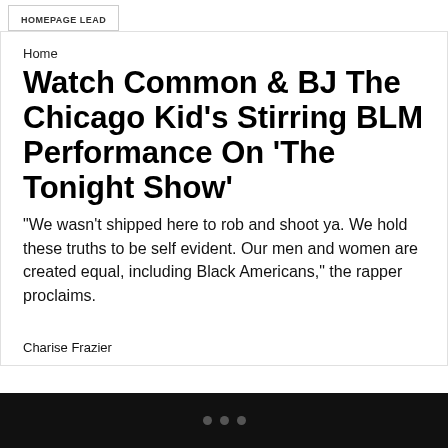HOMEPAGE LEAD
Home
Watch Common & BJ The Chicago Kid's Stirring BLM Performance On 'The Tonight Show'
"We wasn't shipped here to rob and shoot ya. We hold these truths to be self evident. Our men and women are created equal, including Black Americans," the rapper proclaims.
Charise Frazier